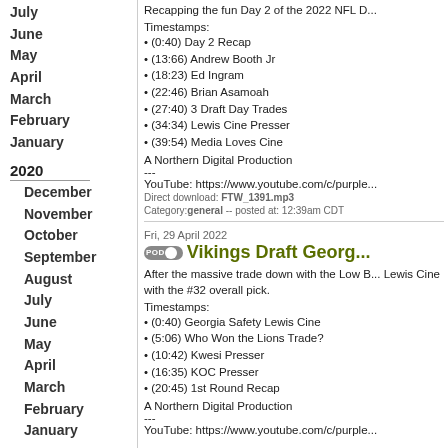July
June
May
April
March
February
January
2020
December
November
October
September
August
July
June
May
April
March
February
January
2019
December
November
October
September
August
July
June
May
April
Recapping the fun Day 2 of the 2022 NFL D...
Timestamps:
• (0:40) Day 2 Recap
• (13:66) Andrew Booth Jr
• (18:23) Ed Ingram
• (22:46) Brian Asamoah
• (27:40) 3 Draft Day Trades
• (34:34) Lewis Cine Presser
• (39:54) Media Loves Cine
A Northern Digital Production
---
YouTube: https://www.youtube.com/c/purple...
Direct download: FTW_1391.mp3
Category: general -- posted at: 12:39am CDT
Fri, 29 April 2022
Vikings Draft Georg...
After the massive trade down with the Low B... Lewis Cine with the #32 overall pick.
Timestamps:
• (0:40) Georgia Safety Lewis Cine
• (5:06) Who Won the Lions Trade?
• (10:42) Kwesi Presser
• (16:35) KOC Presser
• (20:45) 1st Round Recap
A Northern Digital Production
---
YouTube: https://www.youtube.com/c/purple...